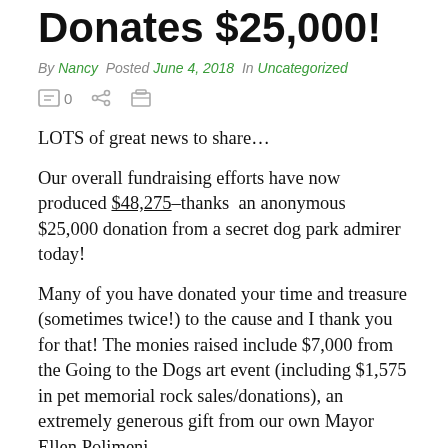Donates $25,000!
By Nancy  Posted June 4, 2018  In Uncategorized
LOTS of great news to share…
Our overall fundraising efforts have now produced $48,275–thanks  an anonymous $25,000 donation from a secret dog park admirer today!
Many of you have donated your time and treasure (sometimes twice!) to the cause and I thank you for that! The monies raised include $7,000 from the Going to the Dogs art event (including $1,575 in pet memorial rock sales/donations), an extremely generous gift from our own Mayor Ellen Polimeni,